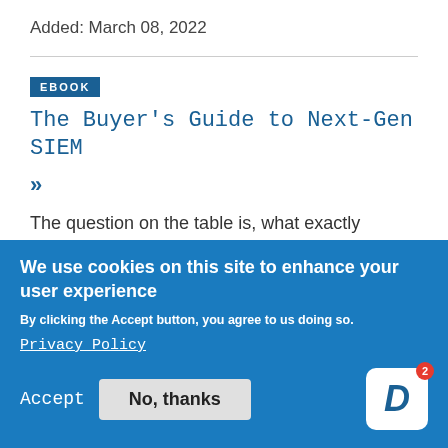Added: March 08, 2022
EBOOK
The Buyer's Guide to Next-Gen SIEM
»
The question on the table is, what exactly is a next-gen SIEM? Many vendors
We use cookies on this site to enhance your user experience
By clicking the Accept button, you agree to us doing so.
Privacy Policy
Accept   No, thanks